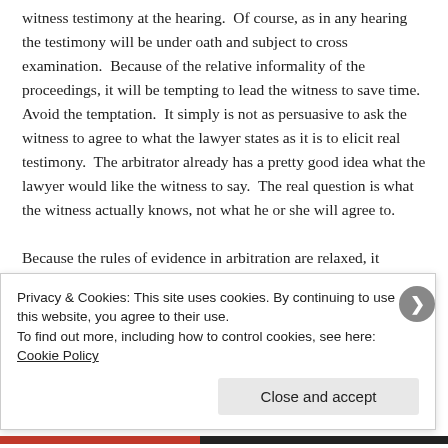witness testimony at the hearing.  Of course, as in any hearing the testimony will be under oath and subject to cross examination.  Because of the relative informality of the proceedings, it will be tempting to lead the witness to save time.  Avoid the temptation.  It simply is not as persuasive to ask the witness to agree to what the lawyer states as it is to elicit real testimony.  The arbitrator already has a pretty good idea what the lawyer would like the witness to say.  The real question is what the witness actually knows, not what he or she will agree to.

Because the rules of evidence in arbitration are relaxed, it
Privacy & Cookies: This site uses cookies. By continuing to use this website, you agree to their use.
To find out more, including how to control cookies, see here: Cookie Policy
Close and accept